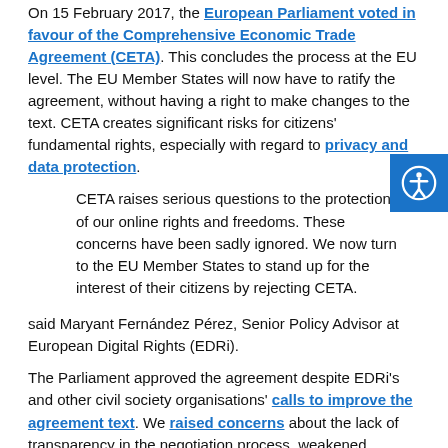On 15 February 2017, the European Parliament voted in favour of the Comprehensive Economic Trade Agreement (CETA). This concludes the process at the EU level. The EU Member States will now have to ratify the agreement, without having a right to make changes to the text. CETA creates significant risks for citizens' fundamental rights, especially with regard to privacy and data protection.
CETA raises serious questions to the protection of our online rights and freedoms. These concerns have been sadly ignored. We now turn to the EU Member States to stand up for the interest of their citizens by rejecting CETA.
said Maryant Fernández Pérez, Senior Policy Advisor at European Digital Rights (EDRi).
The Parliament approved the agreement despite EDRi's and other civil society organisations' calls to improve the agreement text. We raised concerns about the lack of transparency in the negotiation process, weakened protection of the personal data and privacy of European citizens, the possibility of corporations to challenge government decisions under the so-called Investment Court System, and the